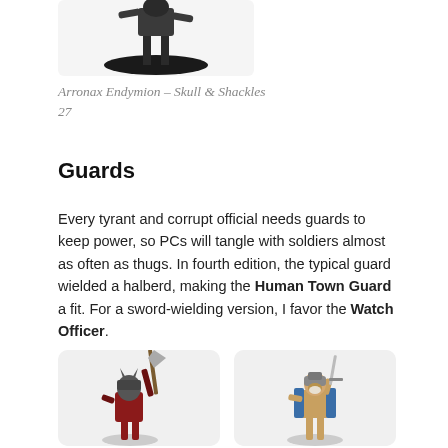[Figure (photo): Top portion of a miniature figurine of Arronax Endymion on a black round base, partially cropped at top]
Arronax Endymion – Skull & Shackles 27
Guards
Every tyrant and corrupt official needs guards to keep power, so PCs will tangle with soldiers almost as often as thugs. In fourth edition, the typical guard wielded a halberd, making the Human Town Guard a fit. For a sword-wielding version, I favor the Watch Officer.
[Figure (photo): Miniature figurine of a guard in red armor holding a halberd/axe raised above head, wearing a horned helmet]
[Figure (photo): Miniature figurine of a Watch Officer in tan/brown armor holding a sword, wearing a helmet]